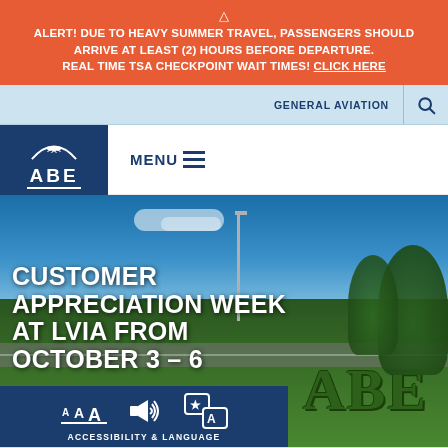⚠ ALERT! DUE TO HEAVY SUMMER TRAVEL, PASSENGERS SHOULD ARRIVE AT LEAST (2) HOURS BEFORE DEPARTURE. REAL TIME TSA CHECKPOINT WAIT TIMES! CLICK HERE
GENERAL AVIATION  🔍
[Figure (logo): ABE airport logo — white airplane over arch on dark blue background with ABE text]
MENU ≡
[Figure (photo): Outdoor photo of topiary/hedge letters and a pole against blue sky with trees]
CUSTOMER APPRECIATION WEEK AT LVIA FROM OCTOBER 3 – 6
ACCESSIBILITY & LANGUAGE